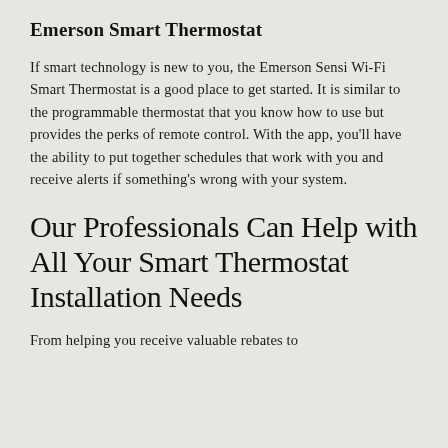Emerson Smart Thermostat
If smart technology is new to you, the Emerson Sensi Wi-Fi Smart Thermostat is a good place to get started. It is similar to the programmable thermostat that you know how to use but provides the perks of remote control. With the app, you’ll have the ability to put together schedules that work with you and receive alerts if something’s wrong with your system.
Our Professionals Can Help with All Your Smart Thermostat Installation Needs
From helping you receive valuable rebates to